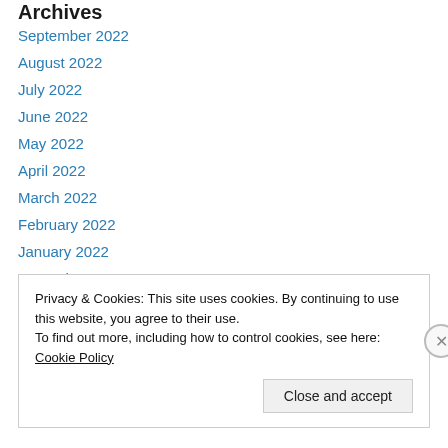Archives
September 2022
August 2022
July 2022
June 2022
May 2022
April 2022
March 2022
February 2022
January 2022
December 2021
November 2021
October 2021
Privacy & Cookies: This site uses cookies. By continuing to use this website, you agree to their use. To find out more, including how to control cookies, see here: Cookie Policy
Close and accept